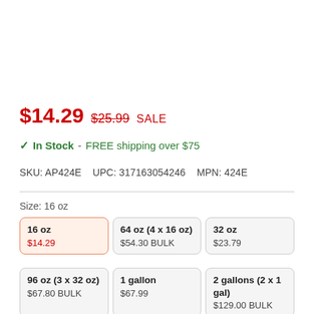$14.29  $25.99  SALE
✓ In Stock - FREE shipping over $75
SKU: AP424E   UPC: 317163054246   MPN: 424E
Size: 16 oz
| 16 oz
$14.29 | 64 oz (4 x 16 oz)
$54.30 BULK | 32 oz
$23.79 |
| 96 oz (3 x 32 oz)
$67.80 BULK | 1 gallon
$67.99 | 2 gallons (2 x 1 gal)
$129.00 BULK |